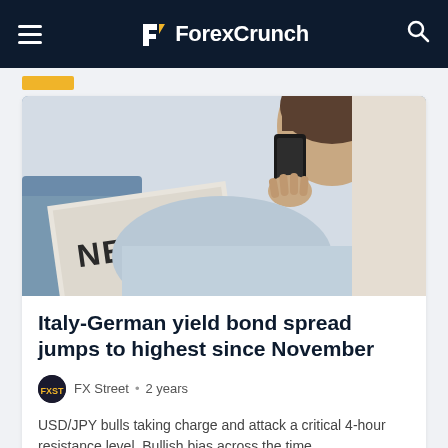ForexCrunch
[Figure (photo): Person reading a newspaper with 'NEWS' printed on it while talking on a smartphone, seen from behind/side angle]
Italy-German yield bond spread jumps to highest since November
FX Street • 2 years
USD/JPY bulls taking charge and attack a critical 4-hour resistance level. Bullish bias across the time